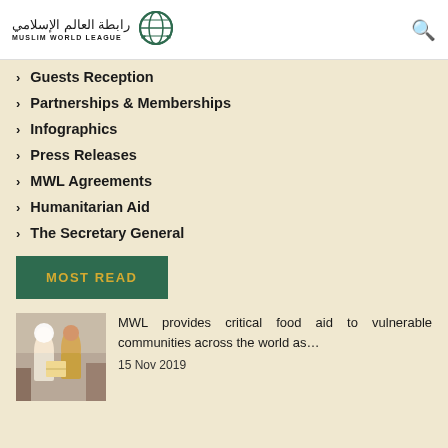MUSLIM WORLD LEAGUE
Guests Reception
Partnerships & Memberships
Infographics
Press Releases
MWL Agreements
Humanitarian Aid
The Secretary General
MOST READ
[Figure (photo): Photo of people receiving food aid]
MWL provides critical food aid to vulnerable communities across the world as…
15 Nov 2019